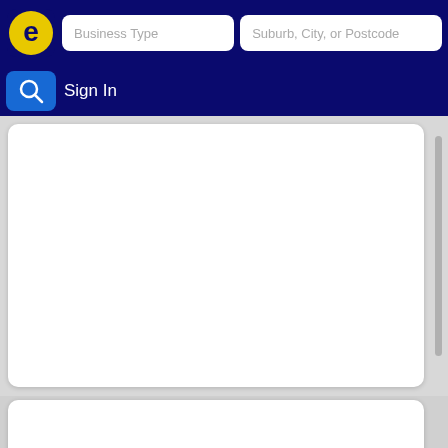[Figure (screenshot): Business directory app header with logo, search input fields for Business Type and Suburb/City/Postcode, and a Sign In navigation bar with search icon button]
Business Type
Suburb, City, or Postcode
Sign In
[Figure (other): Large white card area (map or content placeholder)]
[Figure (other): Bottom white card with Regional results label]
↳ Regional results